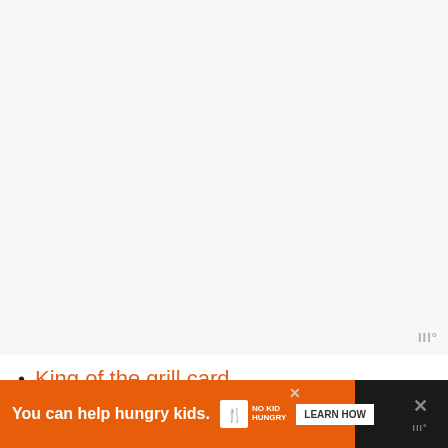[Figure (other): Large light gray empty image area occupying the top portion of the page, with a small watermark logo 'III°' in the bottom-right corner]
King of the grill card
[Figure (other): Advertisement banner at the bottom: orange background with text 'You can help hungry kids.' and 'NO KID HUNGRY' logo and 'LEARN HOW' button, with dark background on sides and X close button]